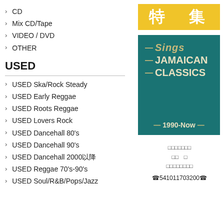> CD
> Mix CD/Tape
> VIDEO / DVD
> OTHER
USED
> USED Ska/Rock Steady
> USED Early Reggae
> USED Roots Reggae
> USED Lovers Rock
> USED Dancehall 80's
> USED Dancehall 90's
> USED Dancehall 2000以降
> USED Reggae 70's-90's
> USED Soul/R&B/Pops/Jazz
[Figure (other): Yellow banner with Japanese characters 特集]
[Figure (other): Teal banner reading 'Sings JAMAICAN CLASSICS 1990-Now']
スペシャルフィーチャー
特集　号
レゲエミュージック専門店
☎541011703200☎